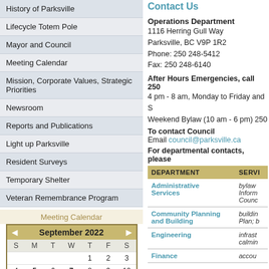History of Parksville
Lifecycle Totem Pole
Mayor and Council
Meeting Calendar
Mission, Corporate Values, Strategic Priorities
Newsroom
Reports and Publications
Light up Parksville
Resident Surveys
Temporary Shelter
Veteran Remembrance Program
Meeting Calendar
| S | M | T | W | T | F | S |
| --- | --- | --- | --- | --- | --- | --- |
|  |  |  |  | 1 | 2 | 3 |
| 4 | 5 | 6 | 7 | 8 | 9 | 10 |
| 11 | 12 | 13 | 14 | 15 | 16 | 17 |
Contact Us
Operations Department
1116 Herring Gull Way
Parksville, BC V9P 1R2
Phone: 250 248-5412
Fax: 250 248-6140
After Hours Emergencies, call 250...
4 pm - 8 am, Monday to Friday and...
Weekend Bylaw (10 am - 6 pm) 250...
To contact Council
Email council@parksville.ca
For departmental contacts, please...
| DEPARTMENT | SERVI... |
| --- | --- |
| Administrative Services | bylaw...
Inform...
Counc... |
| Community Planning and Building | buildin...
Plan; b... |
| Engineering | infrast...
calmin... |
| Finance | accou... |